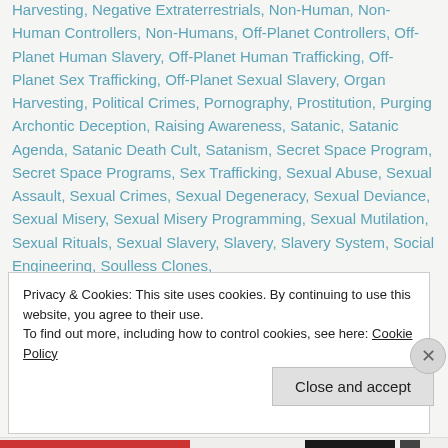Harvesting, Negative Extraterrestrials, Non-Human, Non-Human Controllers, Non-Humans, Off-Planet Controllers, Off-Planet Human Slavery, Off-Planet Human Trafficking, Off-Planet Sex Trafficking, Off-Planet Sexual Slavery, Organ Harvesting, Political Crimes, Pornography, Prostitution, Purging Archontic Deception, Raising Awareness, Satanic, Satanic Agenda, Satanic Death Cult, Satanism, Secret Space Program, Secret Space Programs, Sex Trafficking, Sexual Abuse, Sexual Assault, Sexual Crimes, Sexual Degeneracy, Sexual Deviance, Sexual Misery, Sexual Misery Programming, Sexual Mutilation, Sexual Rituals, Sexual Slavery, Slavery, Slavery System, Social Engineering, Soulless Clones,
Privacy & Cookies: This site uses cookies. By continuing to use this website, you agree to their use.
To find out more, including how to control cookies, see here: Cookie Policy
Close and accept